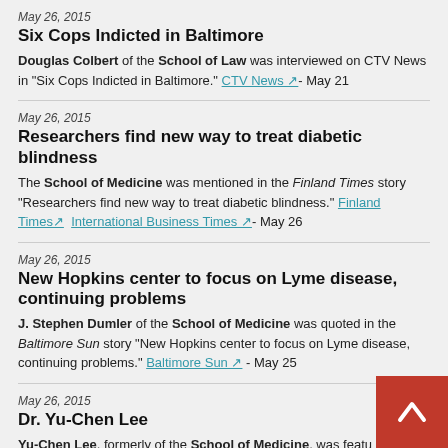May 26, 2015
Six Cops Indicted in Baltimore
Douglas Colbert of the School of Law was interviewed on CTV News in “Six Cops Indicted in Baltimore.” CTV News ↗- May 21
May 26, 2015
Researchers find new way to treat diabetic blindness
The School of Medicine was mentioned in the Finland Times story “Researchers find new way to treat diabetic blindness.” Finland Times ↗  International Business Times ↗- May 26
May 26, 2015
New Hopkins center to focus on Lyme disease, continuing problems
J. Stephen Dumler of the School of Medicine was quoted in the Baltimore Sun story “New Hopkins center to focus on Lyme disease, continuing problems.” Baltimore Sun ↗ - May 25
May 26, 2015
Dr. Yu-Chen Lee
Yu-Chen Lee, formerly of the School of Medicine, was featured in a Baltimore Sun obituary. Former School of Medicine faculty member Robert Singleton and Bernard Karpers, currently of School of Medicine, were quoted in the story as well. Baltimore